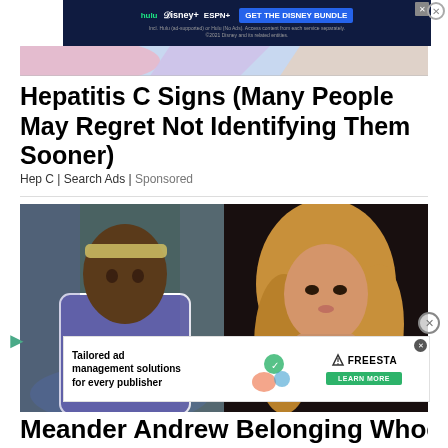[Figure (screenshot): Disney Bundle advertisement banner with Hulu, Disney+, and ESPN+ logos and 'GET THE DISNEY BUNDLE' call to action button on dark background]
[Figure (illustration): Colorful abstract illustration strip with geometric shapes in pink, blue, and peach tones]
Hepatitis C Signs (Many People May Regret Not Identifying Them Sooner)
Hep C | Search Ads | Sponsored
[Figure (photo): Side by side photos: left shows a Black football player in purple jersey with headband; right shows a blonde woman sitting in a car]
[Figure (screenshot): Freesta ad overlay: 'Tailored ad management solutions for every publisher' with LEARN MORE button]
Meander Andrew Belonging Whoever Jeff